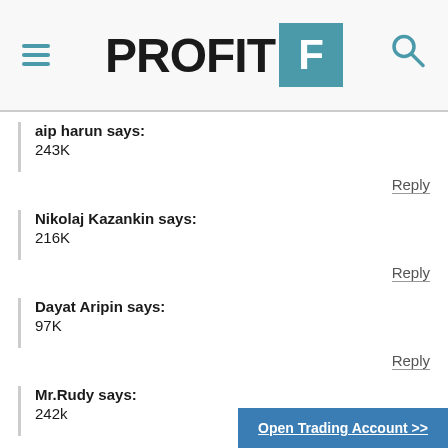PROFIT F
aip harun says:
243K
Reply
Nikolaj Kazankin says:
216K
Reply
Dayat Aripin says:
97K
Reply
Mr.Rudy says:
242k
Reply
ProfitF says:
Yes)) please send email re...
"discus email"!